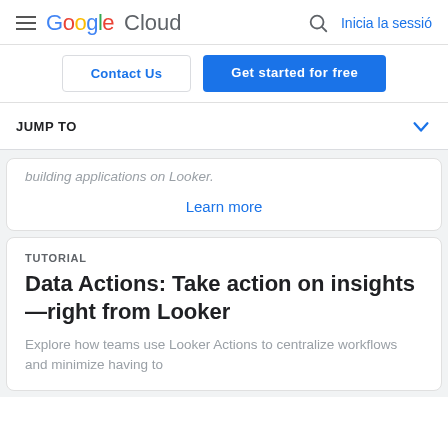Google Cloud — Inicia la sessió
Contact Us
Get started for free
JUMP TO
building applications on Looker.
Learn more
TUTORIAL
Data Actions: Take action on insights—right from Looker
Explore how teams use Looker Actions to centralize workflows and minimize having to